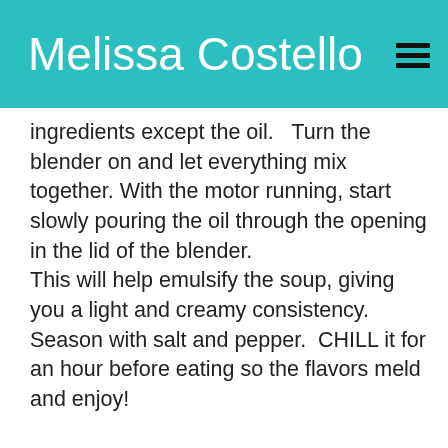Melissa Costello
ingredients except the oil.   Turn the blender on and let everything mix together. With the motor running, start slowly pouring the oil through the opening in the lid of the blender.
This will help emulsify the soup, giving you a light and creamy consistency.
Season with salt and pepper.  CHILL it for an hour before eating so the flavors meld and enjoy!
#VEGAN
December 28, 2015
in Main Dishes , Recipes , Soups by Melissa Costello